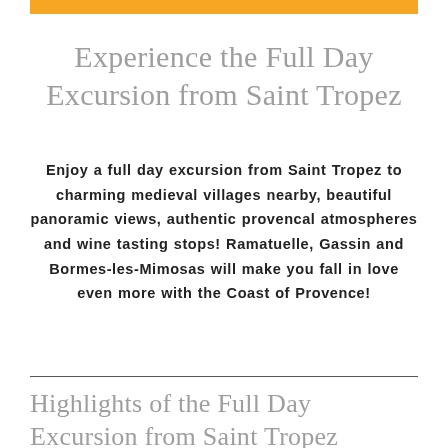Experience the Full Day Excursion from Saint Tropez
Enjoy a full day excursion from Saint Tropez to charming medieval villages nearby, beautiful panoramic views, authentic provencal atmospheres and wine tasting stops! Ramatuelle, Gassin and Bormes-les-Mimosas will make you fall in love even more with the Coast of Provence!
Highlights of the Full Day Excursion from Saint Tropez